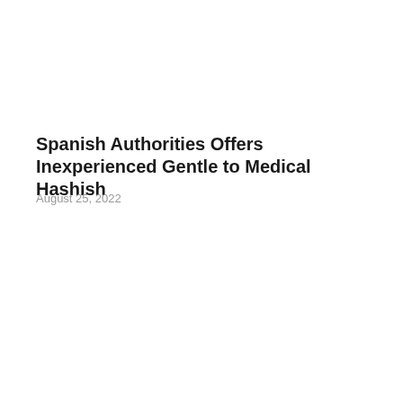Spanish Authorities Offers Inexperienced Gentle to Medical Hashish
August 25, 2022